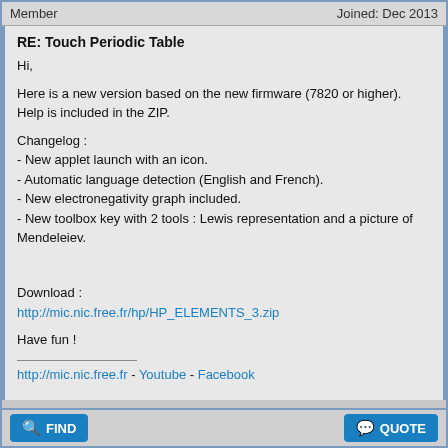Member    Joined: Dec 2013
RE: Touch Periodic Table
Hi,

Here is a new version based on the new firmware (7820 or higher).
Help is included in the ZIP.

Changelog :
- New applet launch with an icon.
- Automatic language detection (English and French).
- New electronegativity graph included.
- New toolbox key with 2 tools : Lewis representation and a picture of Mendeleiev.


Download :
http://mic.nic.free.fr/hp/HP_ELEMENTS_3.zip

Have fun !
http://mic.nic.free.fr - Youtube - Facebook
FIND    QUOTE